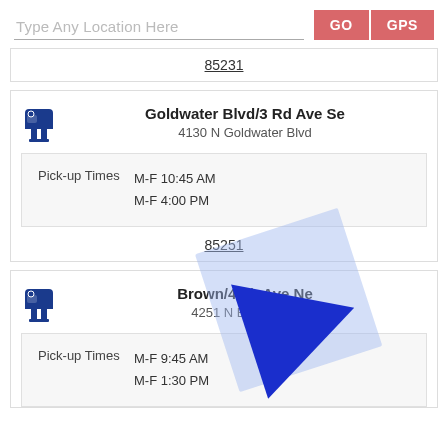[Figure (screenshot): Search bar with placeholder text 'Type Any Location Here' and two buttons: GO and GPS in salmon/red color]
85251
[Figure (infographic): Mail location card for Goldwater Blvd/3 Rd Ave Se at 4130 N Goldwater Blvd with pick-up times M-F 10:45 AM and M-F 4:00 PM, zip 85251]
[Figure (infographic): Mail location card for Brown/4 Th Ave Ne at 4251 N Brown Ave with pick-up times M-F 9:45 AM and M-F 1:30 PM]